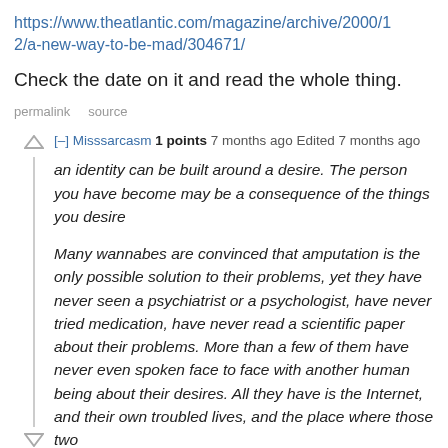https://www.theatlantic.com/magazine/archive/2000/12/a-new-way-to-be-mad/304671/
Check the date on it and read the whole thing.
permalink    source
[–] Misssarcasm 1 points 7 months ago Edited 7 months ago
an identity can be built around a desire. The person you have become may be a consequence of the things you desire
Many wannabes are convinced that amputation is the only possible solution to their problems, yet they have never seen a psychiatrist or a psychologist, have never tried medication, have never read a scientific paper about their problems. More than a few of them have never even spoken face to face with another human being about their desires. All they have is the Internet, and their own troubled lives, and the place where those two